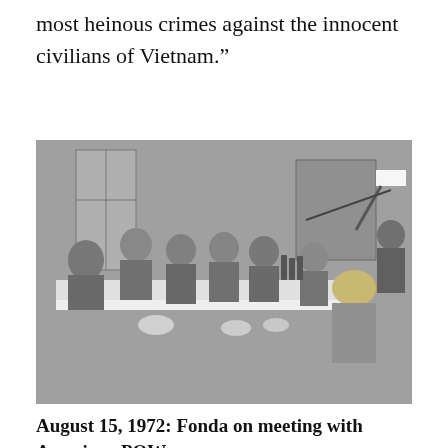most heinous crimes against the innocent civilians of Vietnam."
[Figure (photo): Black and white photograph of American POWs seated around a large table with a white tablecloth, interacting with people including a blonde woman facing away from the camera. Bright camera lights are visible in the background right, and several people appear to be photographing the scene.]
August 15, 1972: Fonda on meeting with American POWs
"I had the opportunity of meeting seven U.S. pilots. Some